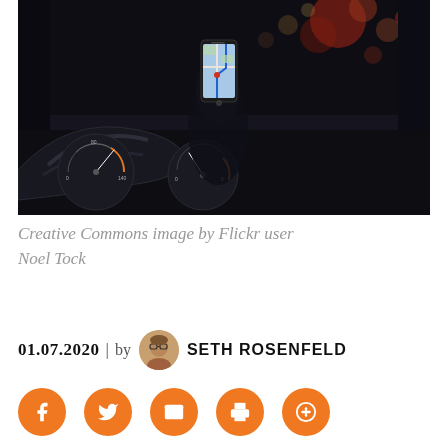[Figure (photo): Dark interior of a car at night, driver's hand holding a smartphone with a navigation map app displayed, dashboard with speedometer visible in the lower left, bokeh city lights visible through the windshield in the upper right.]
Creative Commons image by Flickr user Noel Tock
01.07.2020 | by SETH ROSENFELD
[Figure (infographic): Five orange circular social sharing buttons: Facebook, Twitter, Email, Print, Add/Bookmark]